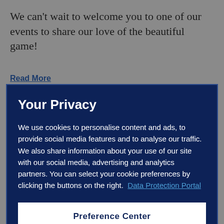We can't wait to welcome you to one of our events to share our love of the beautiful game!
Read More
Your Privacy
We use cookies to personalise content and ads, to provide social media features and to analyse our traffic. We also share information about your use of our site with our social media, advertising and analytics partners. You can select your cookie preferences by clicking the buttons on the right.  Data Protection Portal
Preference Center
Reject All
I'm OK with that